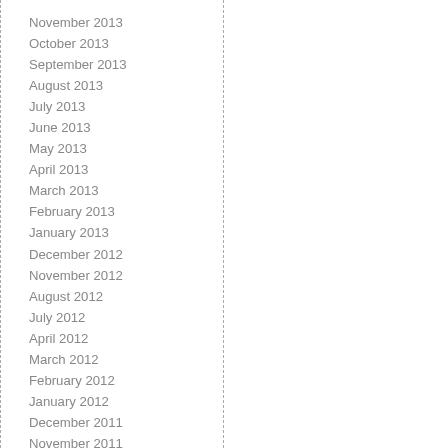November 2013
October 2013
September 2013
August 2013
July 2013
June 2013
May 2013
April 2013
March 2013
February 2013
January 2013
December 2012
November 2012
August 2012
July 2012
April 2012
March 2012
February 2012
January 2012
December 2011
November 2011